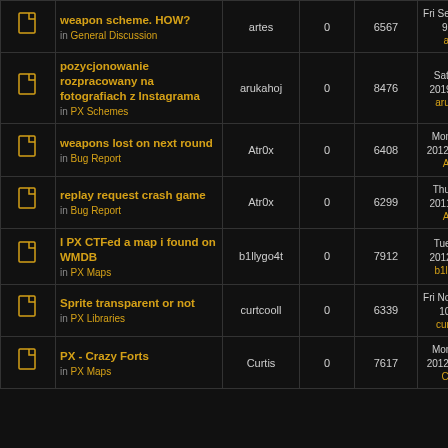|  | Topic | Author | Replies | Views | Last post |
| --- | --- | --- | --- | --- | --- |
| [icon] | weapon scheme. HOW?
in General Discussion | artes | 0 | 6567 | Fri Sep 02, 2011 9:25 am
artes |
| [icon] | pozycjonowanie rozpracowany na fotografiach z Instagrama
in PX Schemes | arukahoj | 0 | 8476 | Sat Sep 21, 2019 2:13 am
arukahoj |
| [icon] | weapons lost on next round
in Bug Report | Atr0x | 0 | 6408 | Mon Dec 31, 2012 12:50 am
Atr0x |
| [icon] | replay request crash game
in Bug Report | Atr0x | 0 | 6299 | Thu Sep 15, 2011 3:53 pm
Atr0x |
| [icon] | I PX CTFed a map i found on WMDB
in PX Maps | b1llygo4t | 0 | 7912 | Tue Jan 03, 2012 3:35 pm
b1llygo4t |
| [icon] | Sprite transparent or not
in PX Libraries | curtcooll | 0 | 6339 | Fri Nov 02, 2012 10:06 pm
curtcooll |
| [icon] | PX - Crazy Forts
in PX Maps | Curtis | 0 | 7617 | Mon Feb 13, 2012 10:53 pm
Curtis |